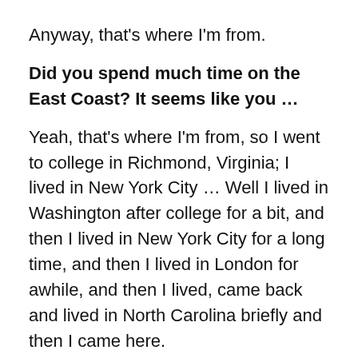Anyway, that's where I'm from.
Did you spend much time on the East Coast? It seems like you …
Yeah, that's where I'm from, so I went to college in Richmond, Virginia; I lived in New York City … Well I lived in Washington after college for a bit, and then I lived in New York City for a long time, and then I lived in London for awhile, and then I lived, came back and lived in North Carolina briefly and then I came here.
Okay. Now, did you have … I looked at a lot of your photography, and it's really good, did you have a formal training in that? Was that part of college?
I took one class in college of … I guess we did darkroom